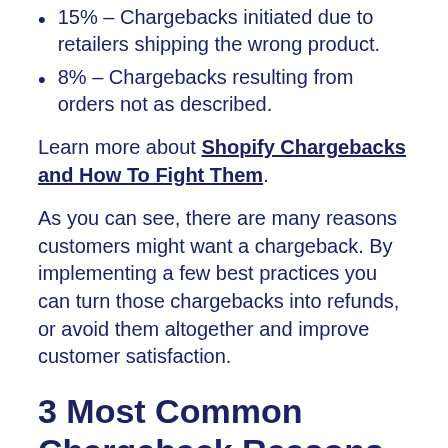15% – Chargebacks initiated due to retailers shipping the wrong product.
8% – Chargebacks resulting from orders not as described.
Learn more about Shopify Chargebacks and How To Fight Them.
As you can see, there are many reasons customers might want a chargeback. By implementing a few best practices you can turn those chargebacks into refunds, or avoid them altogether and improve customer satisfaction.
3 Most Common Chargeback Reasons